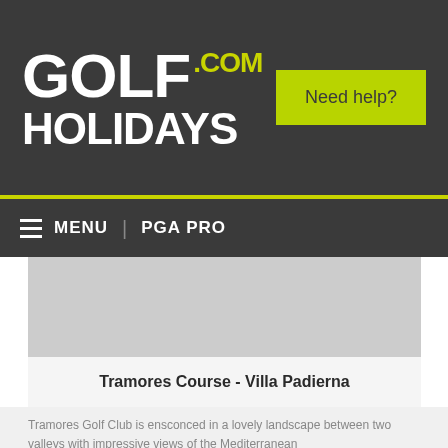GOLF HOLIDAYS .com — Need help?
≡ MENU | PGA PRO
[Figure (photo): Golf course image placeholder — light grey rectangle]
Tramores Course - Villa Padierna
Tramores Golf Club is ensconced in a lovely landscape between two valleys with impressive views of the Mediterranean